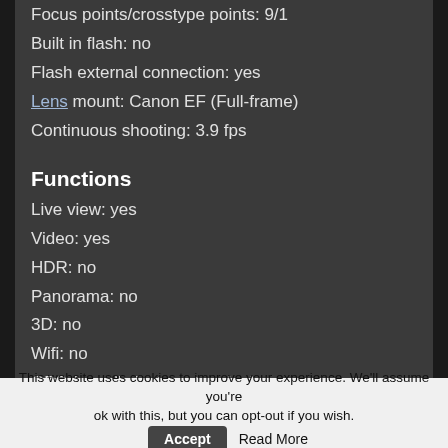Focus points/crosstype points: 9/1
Built in flash: no
Flash external connection: yes
Lens mount: Canon EF (Full-frame)
Continuous shooting: 3.9 fps
Functions
Live view: yes
Video: yes
HDR: no
Panorama: no
3D: no
Wifi: no
GPS (usually just geotagging): no
Sensor cleaning: yes
Physical parameters
This website uses cookies to improve your experience. We'll assume you're ok with this, but you can opt-out if you wish.